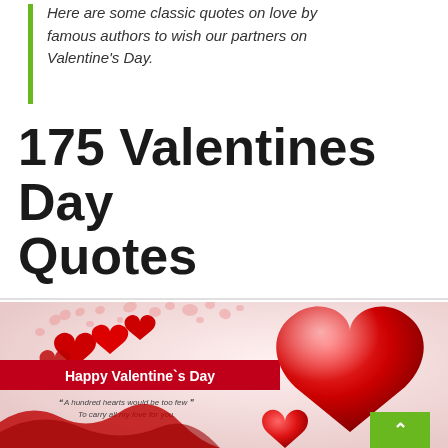Here are some classic quotes on love by famous authors to wish our partners on Valentine's Day.
175 Valentines Day Quotes
[Figure (illustration): Valentine's Day greeting card image with red hearts, ribbon, and text 'Happy Valentine`s Day' and quote 'A hundred hearts would be too few To carry all my love for you.']